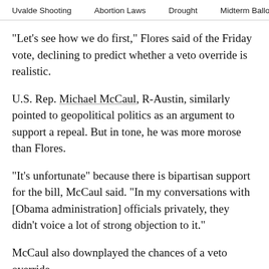Uvalde Shooting   Abortion Laws   Drought   Midterm Ballot
"Let's see how we do first," Flores said of the Friday vote, declining to predict whether a veto override is realistic.
U.S. Rep. Michael McCaul, R-Austin, similarly pointed to geopolitical politics as an argument to support a repeal. But in tone, he was more morose than Flores.
"It's unfortunate" because there is bipartisan support for the bill, McCaul said. "In my conversations with [Obama administration] officials privately, they didn’t voice a lot of strong objection to it."
McCaul also downplayed the chances of a veto override.
"Possibly, but I think that would be hard in the Senate, particularly."
The McCaul also called on him...